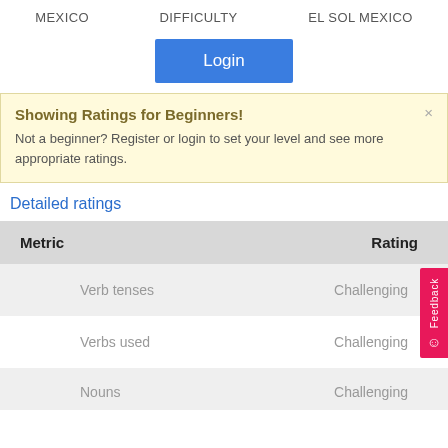MEXICO   DIFFICULTY   EL SOL MEXICO
Login
Showing Ratings for Beginners!
Not a beginner? Register or login to set your level and see more appropriate ratings.
Detailed ratings
| Metric | Rating |
| --- | --- |
| Verb tenses | Challenging |
| Verbs used | Challenging |
| Nouns | Challenging |